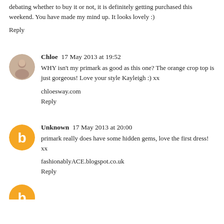debating whether to buy it or not, it is definitely getting purchased this weekend. You have made my mind up. It looks lovely :)
Reply
Chloe  17 May 2013 at 19:52
WHY isn't my primark as good as this one? The orange crop top is just gorgeous! Love your style Kayleigh :) xx
chloesway.com
Reply
Unknown  17 May 2013 at 20:00
primark really does have some hidden gems, love the first dress! xx
fashionablyACE.blogspot.co.uk
Reply